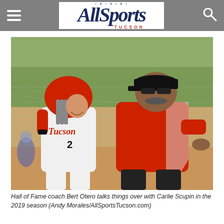All Sports Tucson
[Figure (photo): Hall of Fame softball coach Bert Otero in a red coaching shirt stands with player Carlie Scupin wearing a Tucson uniform and red helmet, on a softball field with chain-link fence in background, 2019 season.]
Hall of Fame coach Bert Otero talks things over with Carlie Scupin in the 2019 season (Andy Morales/AllSportsTucson.com)